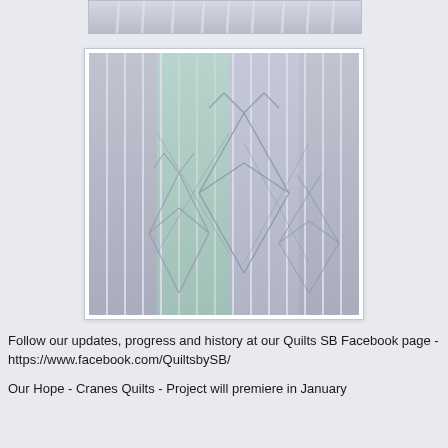[Figure (photo): Partial view of a quilt with light lavender/grey fabric showing vertical stripe stitching lines, partially visible at top of page]
[Figure (photo): Close-up photograph of a quilt with light lavender/grey and pale blue-green fabric panels. Vertical parallel quilting lines are stitched across the surface, with geometric star or crane origami-like patterns traced/drawn onto the fabric in pencil or chalk. The quilt panels alternate between light purple-grey and pale aqua tones.]
Follow our updates, progress and history at our Quilts SB Facebook page - https://www.facebook.com/QuiltsbySB/
Our Hope - Cranes Quilts - Project will premiere in January